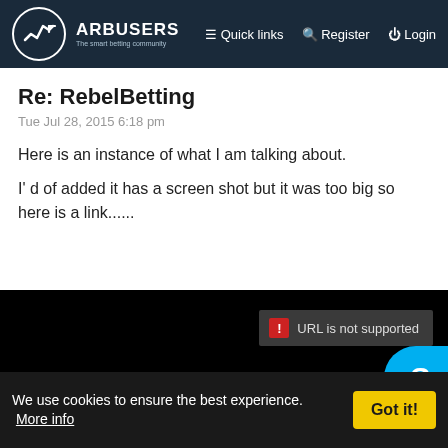ARBUSERS | The smart betting community | Quick links | Register | Login
Re: RebelBetting
Tue Jul 28, 2015 6:18 pm
Here is an instance of what I am talking about.
I' d of added it has a screen shot but it was too big so here is a link......
[Figure (screenshot): Black screenshot area with 'URL is not supported' error badge in dark grey, and a Skype button (cyan circle with S) at bottom right]
We use cookies to ensure the best experience.  More info
Got it!